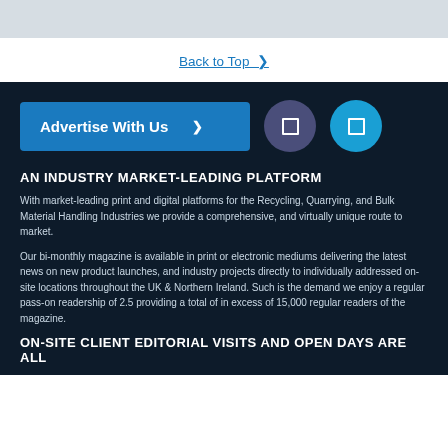Back to Top ❯
[Figure (other): Advertise With Us button with arrow, and two circular icon buttons (dark purple and light blue)]
AN INDUSTRY MARKET-LEADING PLATFORM
With market-leading print and digital platforms for the Recycling, Quarrying, and Bulk Material Handling Industries we provide a comprehensive, and virtually unique route to market.
Our bi-monthly magazine is available in print or electronic mediums delivering the latest news on new product launches, and industry projects directly to individually addressed on-site locations throughout the UK & Northern Ireland. Such is the demand we enjoy a regular pass-on readership of 2.5 providing a total of in excess of 15,000 regular readers of the magazine.
ON-SITE CLIENT EDITORIAL VISITS AND OPEN DAYS ARE ALL